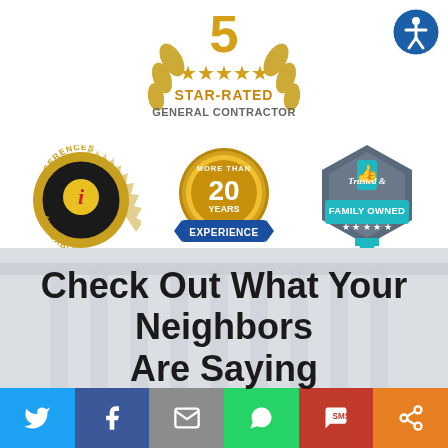[Figure (logo): 5 Star-Rated General Contractor gold badge with laurel wreath and stars]
[Figure (logo): Accessibility icon - blue circle with white person figure]
[Figure (infographic): Three badges: References Available (black/gold seal), More Than 20 Years Experience (gold seal with blue ribbon), Trusted & Family Owned (gray hexagon with teal)]
Check Out What Your Neighbors Are Saying
[Figure (infographic): Social sharing bar with icons: Twitter, Facebook, Email, WhatsApp, SMS, Share]